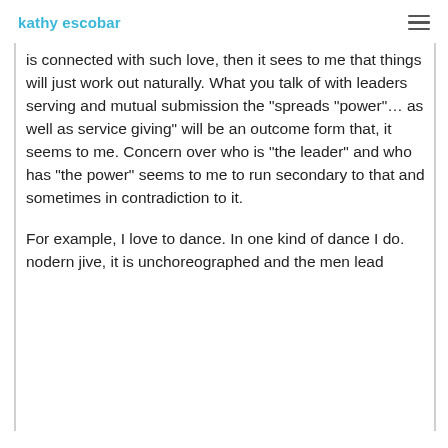kathy escobar
is connected with such love, then it sees to me that things will just work out naturally. What you talk of with leaders serving and mutual submission the “spreads “power”… as well as service giving” will be an outcome form that, it seems to me. Concern over who is “the leader” and who has “the power” seems to me to run secondary to that and sometimes in contradiction to it.

For example, I love to dance. In one kind of dance I do. nodern jive, it is unchoreographed and the men lead